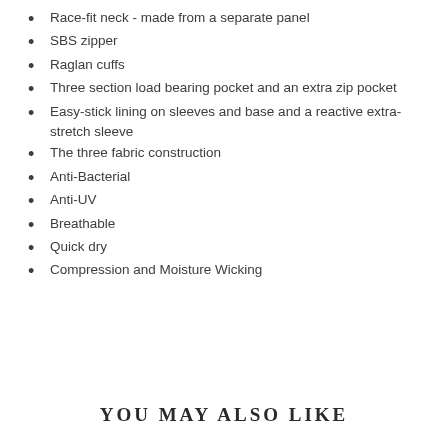Race-fit neck - made from a separate panel
SBS zipper
Raglan cuffs
Three section load bearing pocket and an extra zip pocket
Easy-stick lining on sleeves and base and a reactive extra-stretch sleeve
The three fabric construction
Anti-Bacterial
Anti-UV
Breathable
Quick dry
Compression and Moisture Wicking
YOU MAY ALSO LIKE